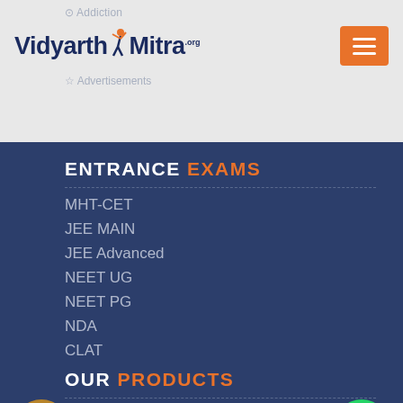Vidyarthi Mitra .org
[Figure (logo): Vidyarthi Mitra logo with figure icon and .org superscript, orange hamburger menu button on right]
ENTRANCE EXAMS
MHT-CET
JEE MAIN
JEE Advanced
NEET UG
NEET PG
NDA
CLAT
OUR PRODUCTS
VidyarthiMitra.org
Career Assessment Test